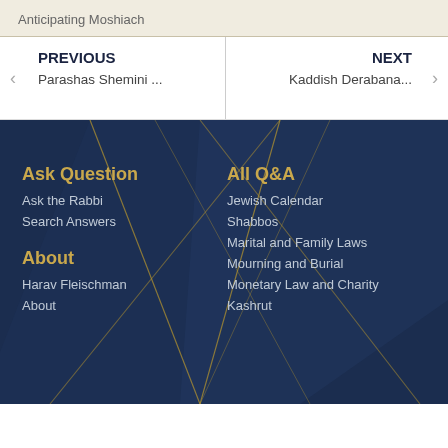Anticipating Moshiach
PREVIOUS
Parashas Shemini ...
NEXT
Kaddish Derabana...
Ask Question
Ask the Rabbi
Search Answers
About
Harav Fleischman
About
All Q&A
Jewish Calendar
Shabbos
Marital and Family Laws
Mourning and Burial
Monetary Law and Charity
Kashrut